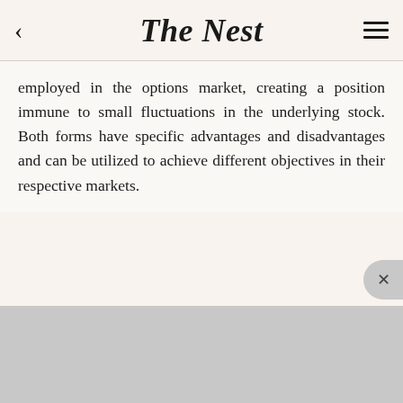The Nest
employed in the options market, creating a position immune to small fluctuations in the underlying stock. Both forms have specific advantages and disadvantages and can be utilized to achieve different objectives in their respective markets.